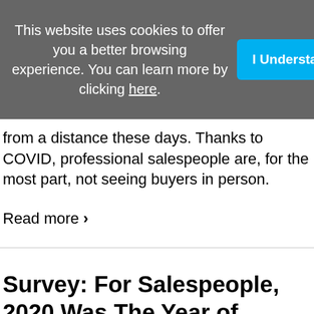This website uses cookies to offer you a better browsing experience. You can learn more by clicking here.
I Understand.
from a distance these days. Thanks to COVID, professional salespeople are, for the most part, not seeing buyers in person.
Read more ›
Survey: For Salespeople, 2020 Was The Year of Holding On...